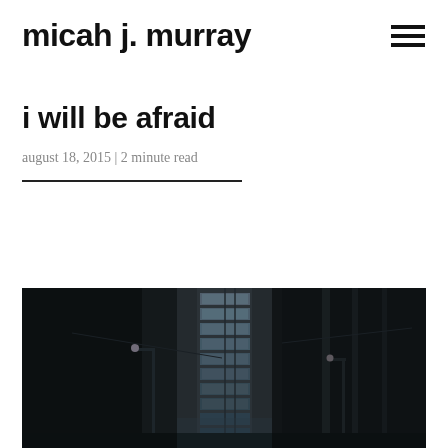micah j. murray
i will be afraid
august 18, 2015 | 2 minute read
[Figure (photo): Dark moody urban alley photograph showing tall narrow building with rows of windows, flanked by dark walls and street lamps, shot from a low angle looking upward, in desaturated dark tones]